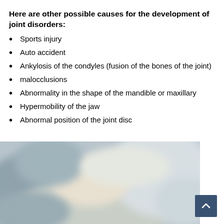Here are other possible causes for the development of joint disorders:
Sports injury
Auto accident
Ankylosis of the condyles (fusion of the bones of the joint)
malocclusions
Abnormality in the shape of the mandible or maxillary
Hypermobility of the jaw
Abnormal position of the joint disc
[Figure (photo): Blurred close-up photo of a jaw/dental X-ray or anatomical image with blue-grey and beige tones]